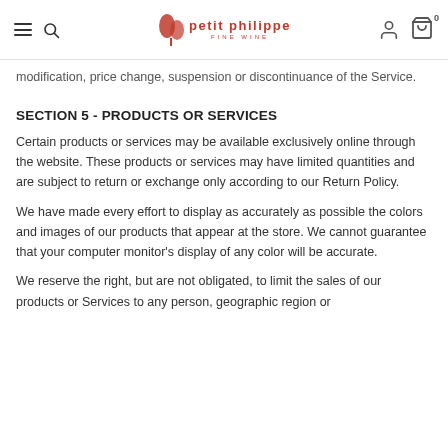petit philippe fine wine — navigation header
modification, price change, suspension or discontinuance of the Service.
SECTION 5 - PRODUCTS OR SERVICES
Certain products or services may be available exclusively online through the website. These products or services may have limited quantities and are subject to return or exchange only according to our Return Policy.
We have made every effort to display as accurately as possible the colors and images of our products that appear at the store. We cannot guarantee that your computer monitor's display of any color will be accurate.
We reserve the right, but are not obligated, to limit the sales of our products or Services to any person, geographic region or